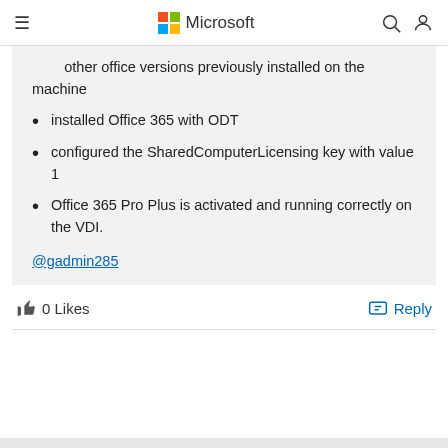Microsoft
other office versions previously installed on the machine
installed Office 365 with ODT
configured the SharedComputerLicensing key with value 1
Office 365 Pro Plus is activated and running correctly on the VDI.
@gadmin285
0 Likes
Reply